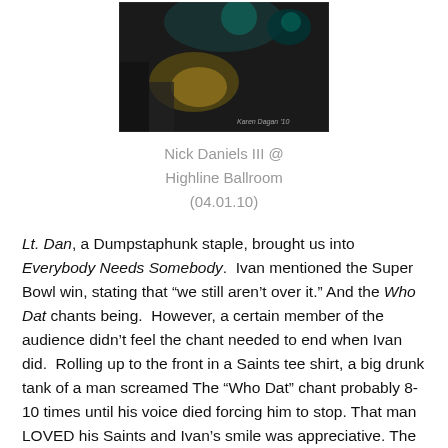[Figure (photo): Dark concert/performance photo with a watermark reading 'Karen Dagan 10' in the lower right corner. Green and yellow lighting visible.]
Nick Daniels III @ Highline Ballroom (04.01.10)
Lt. Dan, a Dumpstaphunk staple, brought us into Everybody Needs Somebody.  Ivan mentioned the Super Bowl win, stating that “we still aren’t over it.” And the Who Dat chants being.  However, a certain member of the audience didn’t feel the chant needed to end when Ivan did.  Rolling up to the front in a Saints tee shirt, a big drunk tank of a man screamed The “Who Dat” chant probably 8-10 times until his voice died forcing him to stop. That man LOVED his Saints and Ivan’s smile was appreciative. The